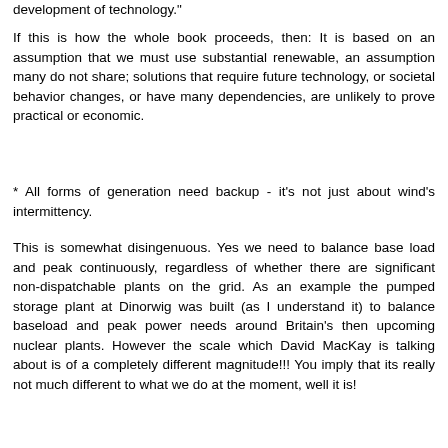development of technology."
If this is how the whole book proceeds, then: It is based on an assumption that we must use substantial renewable, an assumption many do not share; solutions that require future technology, or societal behavior changes, or have many dependencies, are unlikely to prove practical or economic.
* All forms of generation need backup - it's not just about wind's intermittency.
This is somewhat disingenuous. Yes we need to balance base load and peak continuously, regardless of whether there are significant non-dispatchable plants on the grid. As an example the pumped storage plant at Dinorwig was built (as I understand it) to balance baseload and peak power needs around Britain's then upcoming nuclear plants. However the scale which David MacKay is talking about is of a completely different magnitude!!! You imply that its really not much different to what we do at the moment, well it is!